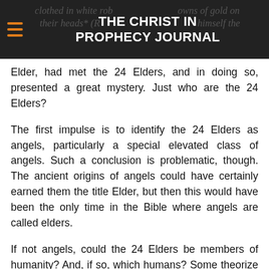THE CHRIST IN PROPHECY JOURNAL
clothed in white robes with crowns of gold on their heads" (R... himself the Elder, had met the 24 Elders, and in doing so, presented a great mystery. Just who are the 24 Elders?
The first impulse is to identify the 24 Elders as angels, particularly a special elevated class of angels. Such a conclusion is problematic, though. The ancient origins of angels could have certainly earned them the title Elder, but then this would have been the only time in the Bible where angels are called elders.
If not angels, could the 24 Elders be members of humanity? And, if so, which humans? Some theorize that the 24 Elders could be comprised of the 12 sons of Jacob, Israel's tribal patriarchs, plus the 12 Apostles, with the two groups representing God's Old and New Covenants. That configuration has a certain logic to it. But, as the last